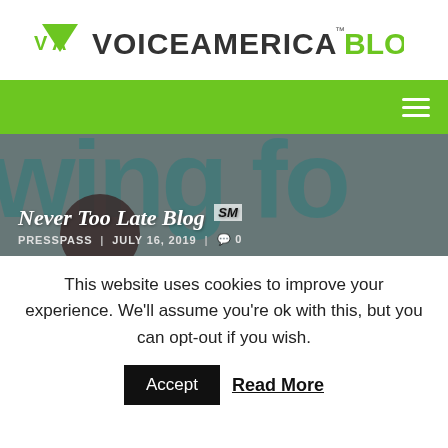[Figure (logo): VoiceAmerica Blog logo with green triangle/arrow icon and bold dark text VOICEAMERICA BLOG]
[Figure (screenshot): Green navigation bar with hamburger menu icon on the right]
[Figure (photo): Hero image with dark teal large text background, overlay, showing Never Too Late Blog SM title, PRESSPASS and JULY 16, 2019 metadata with comment icon and 0]
This website uses cookies to improve your experience. We'll assume you're ok with this, but you can opt-out if you wish.
Accept  Read More